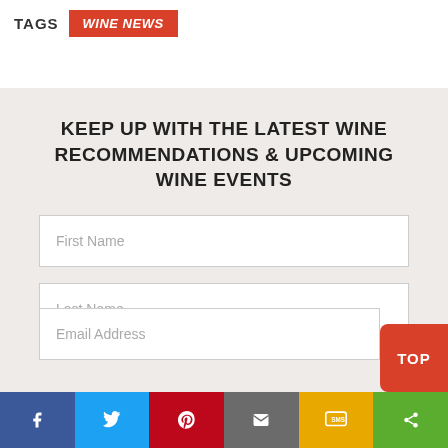TAGS  WINE NEWS
KEEP UP WITH THE LATEST WINE RECOMMENDATIONS & UPCOMING WINE EVENTS
First Name
Last Name
Email Address